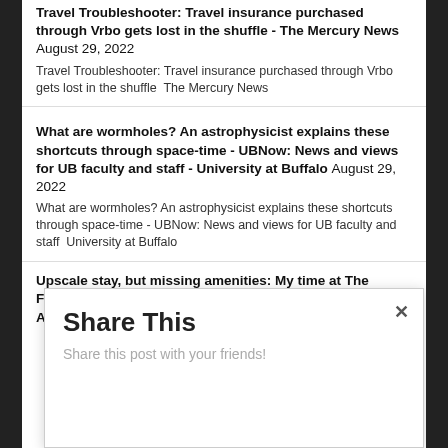Travel Troubleshooter: Travel insurance purchased through Vrbo gets lost in the shuffle - The Mercury News August 29, 2022
Travel Troubleshooter: Travel insurance purchased through Vrbo gets lost in the shuffle  The Mercury News
What are wormholes? An astrophysicist explains these shortcuts through space-time - UBNow: News and views for UB faculty and staff - University at Buffalo August 29, 2022
What are wormholes? An astrophysicist explains these shortcuts through space-time - UBNow: News and views for UB faculty and staff  University at Buffalo
Upscale stay, but missing amenities: My time at The Foundry Hotel in Asheville - The Points Guy August 30, 2022
Share This
Share this post with your friends!